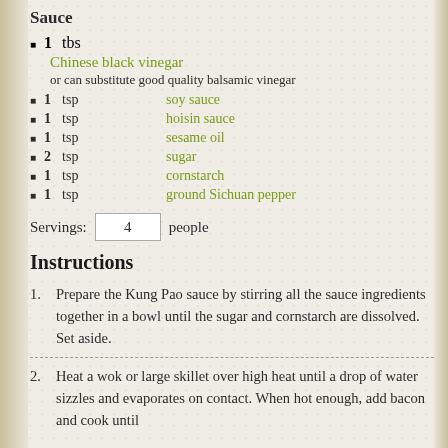Sauce
1 tbs Chinese black vinegar
or can substitute good quality balsamic vinegar
1 tsp soy sauce
1 tsp hoisin sauce
1 tsp sesame oil
2 tsp sugar
1 tsp cornstarch
1 tsp ground Sichuan pepper
Servings: 4 people
Instructions
1. Prepare the Kung Pao sauce by stirring all the sauce ingredients together in a bowl until the sugar and cornstarch are dissolved. Set aside.
2. Heat a wok or large skillet over high heat until a drop of water sizzles and evaporates on contact. When hot enough, add bacon and cook until